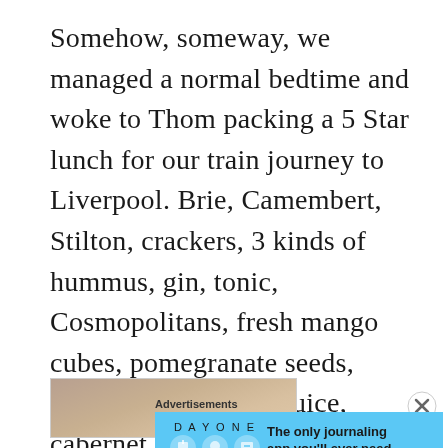Somehow, someway, we managed a normal bedtime and woke to Thom packing a 5 Star lunch for our train journey to Liverpool. Brie, Camembert, Stilton, crackers, 3 kinds of hummus, gin, tonic, Cosmopolitans, fresh mango cubes, pomegranate seeds, carrot cake, organic juice, cabernet AND pinot grigio, neatly arranged WITH an ice pack. I think there were olives in there, too. (You can take the man out of the service industry . . .)
[Figure (photo): Partial photo visible at bottom of page, appearing to show a close-up image with warm tan/brown tones]
Advertisements
[Figure (screenshot): DAY ONE journaling app advertisement on blue background with app icons and tagline: The only journaling app you'll ever need.]